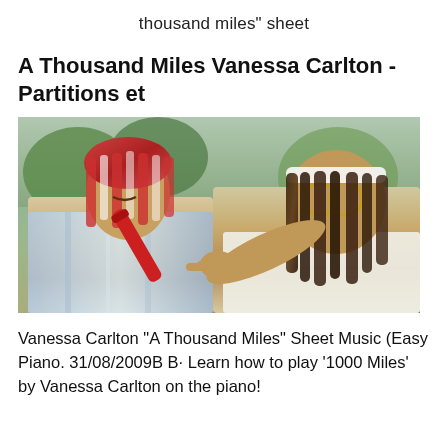thousand miles" sheet
A Thousand Miles Vanessa Carlton - Partitions et
[Figure (photo): Two men outdoors, one on the left playing a red flute/recorder with braided red and white hair, wearing a striped shirt; one on the right with long dreadlocks and a white headband, pointing at the camera, wearing a white t-shirt.]
Vanessa Carlton "A Thousand Miles" Sheet Music (Easy Piano. 31/08/2009B B· Learn how to play '1000 Miles' by Vanessa Carlton on the piano!